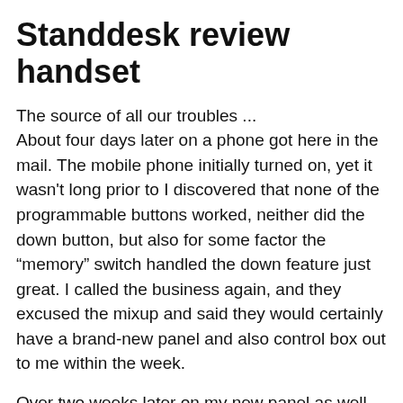Standdesk review handset
The source of all our troubles ...
About four days later on a phone got here in the mail. The mobile phone initially turned on, yet it wasn't long prior to I discovered that none of the programmable buttons worked, neither did the down button, but also for some factor the “memory” switch handled the down feature just great. I called the business again, and they excused the mixup and said they would certainly have a brand-new panel and also control box out to me within the week.
Over two weeks later on my new panel as well as control box got here. As soon as I mounted them both the desk ultimately